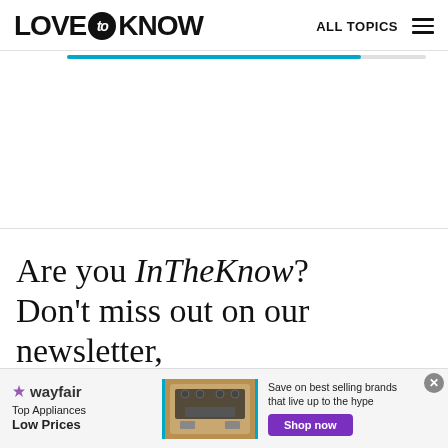LOVE to KNOW   ALL TOPICS
Are you InTheKnow? Don't miss out on our newsletter, featuring all the latest stories and products we love.
[Figure (screenshot): Wayfair advertisement banner: Top Appliances Low Prices, image of stove/oven, Save on best selling brands that live up to the hype, Shop now button]